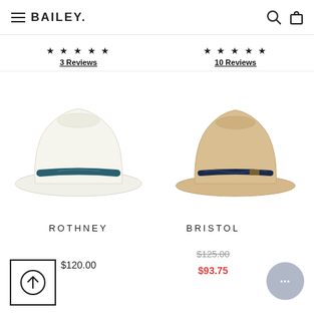BAILEY
3 Reviews
10 Reviews
[Figure (photo): White straw fedora hat with dark teal band, side view on white background]
[Figure (photo): Tan/natural straw fedora hat with dark navy braided band, side view on white background]
ROTHNEY
$120.00
BRISTOL
$125.00
$93.75